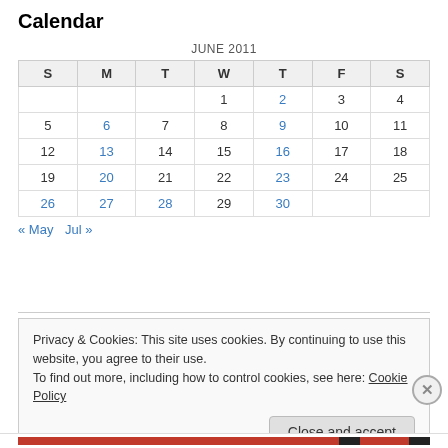Calendar
| S | M | T | W | T | F | S |
| --- | --- | --- | --- | --- | --- | --- |
|  |  |  | 1 | 2 | 3 | 4 |
| 5 | 6 | 7 | 8 | 9 | 10 | 11 |
| 12 | 13 | 14 | 15 | 16 | 17 | 18 |
| 19 | 20 | 21 | 22 | 23 | 24 | 25 |
| 26 | 27 | 28 | 29 | 30 |  |  |
« May  Jul »
Privacy & Cookies: This site uses cookies. By continuing to use this website, you agree to their use. To find out more, including how to control cookies, see here: Cookie Policy
Close and accept